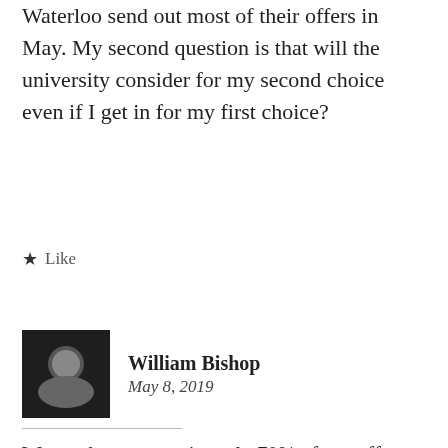Waterloo send out most of their offers in May. My second question is that will the university consider for my second choice even if I get in for my first choice?
★ Like
William Bishop
May 8, 2019
We send out approximately 70% of our offers in May. Only about 30% of our offers are given out in early rounds. We wait for 2nd semester midterm grades before making our final decisions.